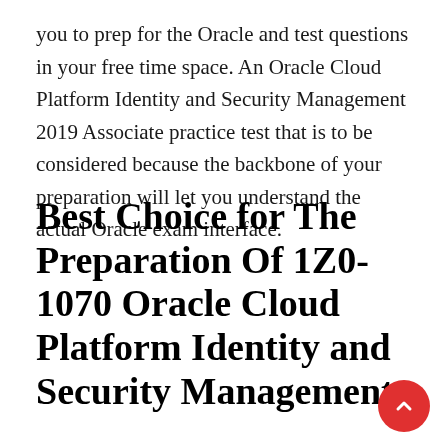you to prep for the Oracle and test questions in your free time space. An Oracle Cloud Platform Identity and Security Management 2019 Associate practice test that is to be considered because the backbone of your preparation will let you understand the actual Oracle exam interface.
Best Choice for The Preparation Of 1Z0-1070 Oracle Cloud Platform Identity and Security Management